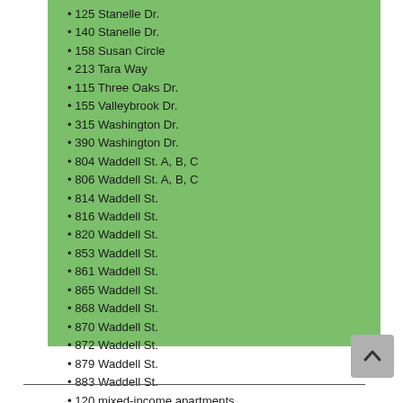125 Stanelle Dr.
140 Stanelle Dr.
158 Susan Circle
213 Tara Way
115 Three Oaks Dr.
155 Valleybrook Dr.
315 Washington Dr.
390 Washington Dr.
804 Waddell St. A, B, C
806 Waddell St. A, B, C
814 Waddell St.
816 Waddell St.
820 Waddell St.
853 Waddell St.
861 Waddell St.
865 Waddell St.
868 Waddell St.
870 Waddell St.
872 Waddell St.
879 Waddell St.
883 Waddell St.
120 mixed-income apartments at Fourth Street Village